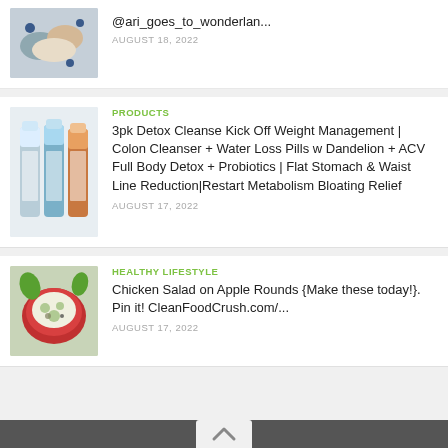@ari_goes_to_wonderlan...
AUGUST 18, 2022
PRODUCTS
3pk Detox Cleanse Kick Off Weight Management | Colon Cleanser + Water Loss Pills w Dandelion + ACV Full Body Detox + Probiotics | Flat Stomach & Waist Line Reduction|Restart Metabolism Bloating Relief
AUGUST 17, 2022
HEALTHY LIFESTYLE
Chicken Salad on Apple Rounds {Make these today!}. Pin it! CleanFoodCrush.com/...
AUGUST 17, 2022